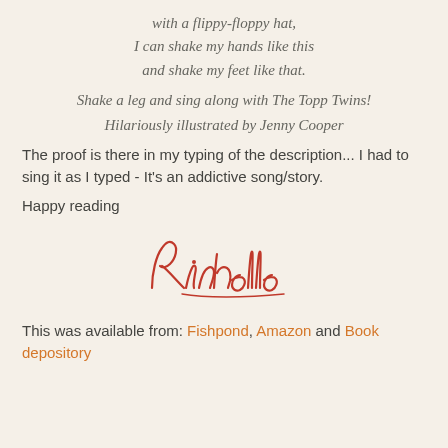with a flippy-floppy hat,
I can shake my hands like this
and shake my feet like that.
Shake a leg and sing along with The Topp Twins!
Hilariously illustrated by Jenny Cooper
The proof is there in my typing of the description... I had to sing it as I typed - It's an addictive song/story.
Happy reading
[Figure (illustration): Handwritten cursive signature reading 'Richelle' in red ink]
This was available from: Fishpond, Amazon and Book depository